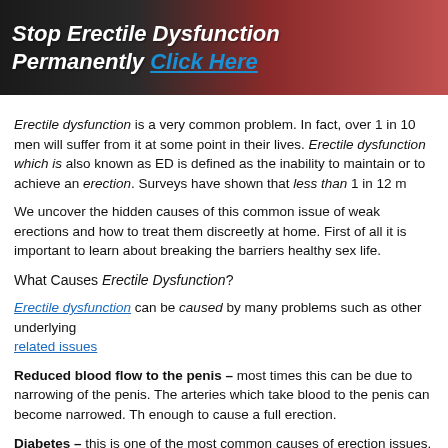[Figure (illustration): Banner advertisement with dark/red gradient background showing bold italic white text 'Stop Erectile Dysfunction Permanently' with 'Click Here' in blue underlined italic text]
Erectile dysfunction is a very common problem. In fact, over 1 in 10 men will suffer from it at some point in their lives. Erectile dysfunction which is also known as ED is defined as the inability to maintain or to achieve an erection. Surveys have shown that less than 1 in 12 m...
We uncover the hidden causes of this common issue of weak erections and how to treat them discreetly at home. First of all it is important to learn about breaking the barriers... healthy sex life.
What Causes Erectile Dysfunction?
Erectile dysfunction can be caused by many problems such as other underlying... related issues
Reduced blood flow to the penis – most times this can be due to narrowing of... the penis. The arteries which take blood to the penis can become narrowed. The... enough to cause a full erection.
Diabetes – this is one of the most common causes of erection issues. Diabetes... nerves which can sometimes trigger erectile dysfunction.
Alcohol and Smoking – cutting back on drinking lots of alcohol and smoking ca... interrupt blood flow to your penis resulting in weaker erections.